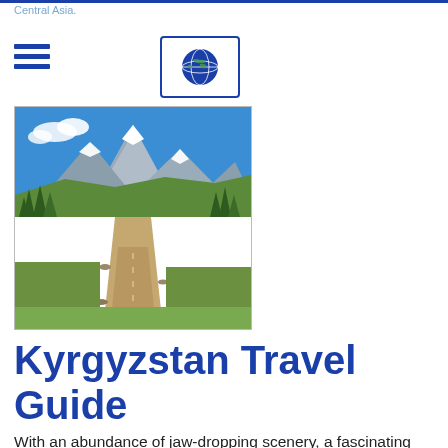Central Asia.
[Figure (photo): Mountain landscape with a dirt road leading toward snow-capped peaks, flanked by pine trees and green meadows in Kyrgyzstan.]
Kyrgyzstan Travel Guide
With an abundance of jaw-dropping scenery, a fascinating culture, complex history, pristine nature and amazing cuisine, Kyrgyzstan is the current tourism 'hot-spot' of Central Asia.